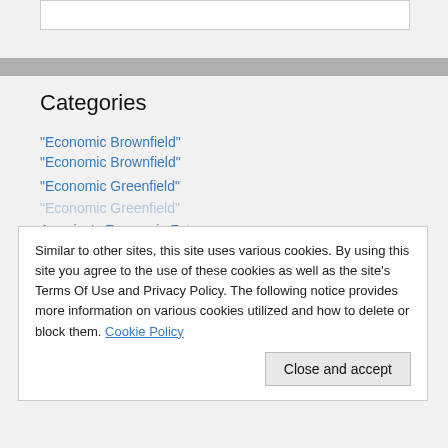Categories
"Economic Brownfield"
"Economic Greenfield"
America's Economic Future
Similar to other sites, this site uses various cookies. By using this site you agree to the use of these cookies as well as the site's Terms Of Use and Privacy Policy. The following notice provides more information on various cookies utilized and how to delete or block them. Cookie Policy
Close and accept
Intervention